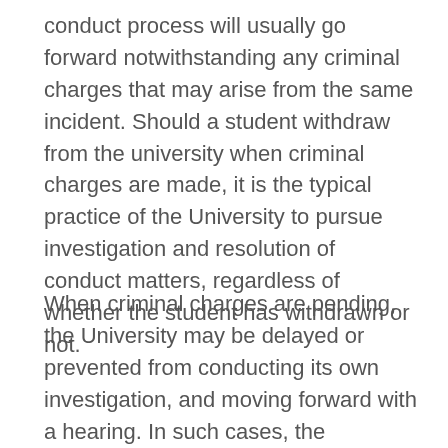conduct process will usually go forward notwithstanding any criminal charges that may arise from the same incident. Should a student withdraw from the university when criminal charges are made, it is the typical practice of the University to pursue investigation and resolution of conduct matters, regardless of whether the student has withdrawn or not.
When criminal charges are pending, the University may be delayed or prevented from conducting its own investigation, and moving forward with a hearing. In such cases, the University will delay its hearing until it can conduct an internal investigation or obtain from law enforcement sufficient information upon which to proceed.